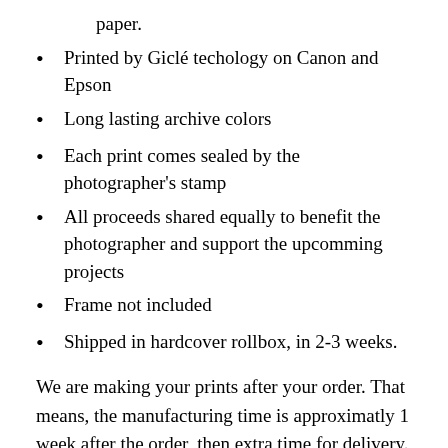paper.
Printed by Giclé techology on Canon and Epson
Long lasting archive colors
Each print comes sealed by the photographer's stamp
All proceeds shared equally to benefit the photographer and support the upcomming projects
Frame not included
Shipped in hardcover rollbox, in 2-3 weeks.
We are making your prints after your order. That means, the manufacturing time is approximatly 1 week after the order, then extra time for delivery.